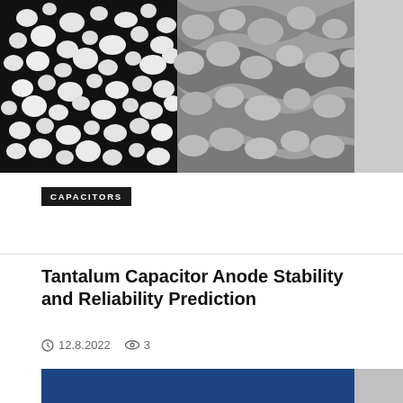[Figure (photo): Microscope images of tantalum capacitor anode material — left half shows white granular particles on black background, right half shows gray sintered structure]
CAPACITORS
Tantalum Capacitor Anode Stability and Reliability Prediction
12.8.2022   3
[Figure (screenshot): Webinar thumbnail with dark blue background showing electric vehicle charging station, text reads 'Introducing Resistors for EVs' and 'WEBINAR' with a circular play button]